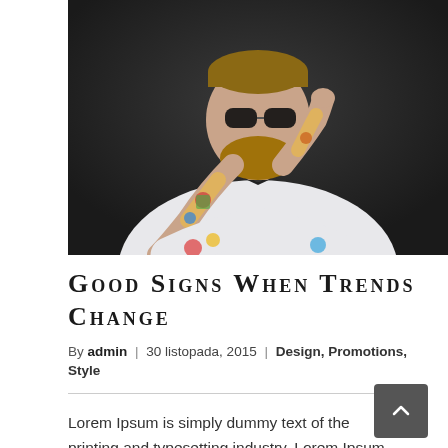[Figure (photo): Bearded man with tattoo sleeves on both arms, wearing a white dress shirt and black bow tie, sunglasses pushed down slightly, dark background, looking at camera with slight smile]
Good signs when trends change
By admin | 30 listopada, 2015 | Design, Promotions, Style
Lorem Ipsum is simply dummy text of the printing and typesetting industry. Lorem Ipsum